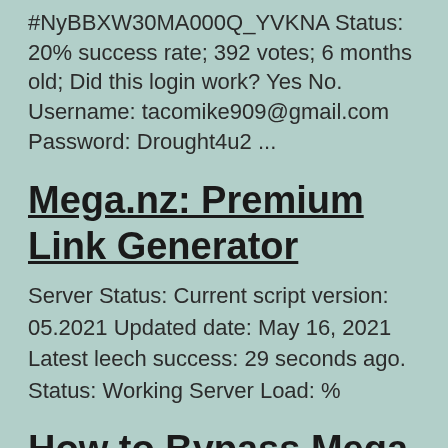#NyBBXW30MA000Q_YVKNA Status: 20% success rate; 392 votes; 6 months old; Did this login work? Yes No. Username: tacomike909@gmail.com Password: Drought4u2 ...
Mega.nz: Premium Link Generator
Server Status: Current script version: 05.2021 Updated date: May 16, 2021 Latest leech success: 29 seconds ago. Status: Working Server Load: %
How to Bypass Mega